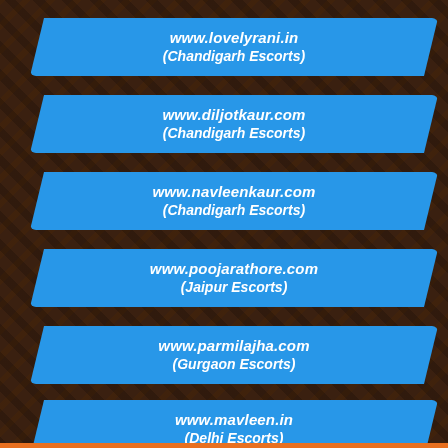www.lovelyrani.in (Chandigarh Escorts)
www.diljotkaur.com (Chandigarh Escorts)
www.navleenkaur.com (Chandigarh Escorts)
www.poojarathore.com (Jaipur Escorts)
www.parmilajha.com (Gurgaon Escorts)
www.mavleen.in (Delhi Escorts)